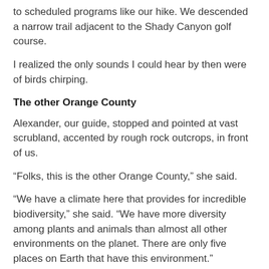to scheduled programs like our hike. We descended a narrow trail adjacent to the Shady Canyon golf course.
I realized the only sounds I could hear by then were of birds chirping.
The other Orange County
Alexander, our guide, stopped and pointed at vast scrubland, accented by rough rock outcrops, in front of us.
“Folks, this is the other Orange County,” she said.
“We have a climate here that provides for incredible biodiversity,” she said. “We have more diversity among plants and animals than almost all other environments on the planet. There are only five places on Earth that have this environment.”
There are plants, frogs, lizards and other creatures that don’t live anywhere else, she said. Our group was lucky enough to see a rare California gnatcatcher.